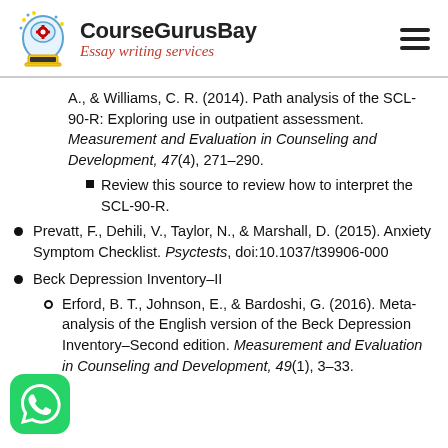CourseGurusBay — Essay writing services
A., & Williams, C. R. (2014). Path analysis of the SCL-90-R: Exploring use in outpatient assessment. Measurement and Evaluation in Counseling and Development, 47(4), 271–290.
Review this source to review how to interpret the SCL-90-R.
Prevatt, F., Dehili, V., Taylor, N., & Marshall, D. (2015). Anxiety Symptom Checklist. Psyctests, doi:10.1037/t39906-000
Beck Depression Inventory–II
Erford, B. T., Johnson, E., & Bardoshi, G. (2016). Meta-analysis of the English version of the Beck Depression Inventory–Second edition. Measurement and Evaluation in Counseling and Development, 49(1), 3–33.